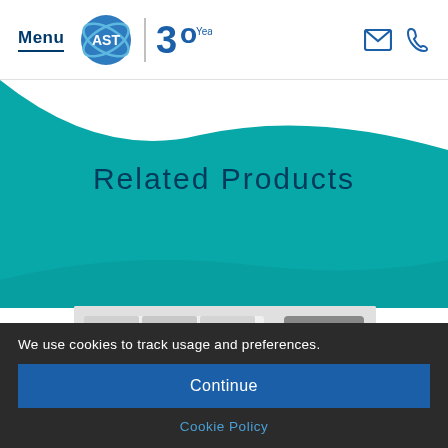Menu | AST 30 Years
[Figure (screenshot): Teal wave background section]
Related Products
[Figure (photo): Product image showing rolls of tape or film material]
We use cookies to track usage and preferences.
Continue
Cookie Policy